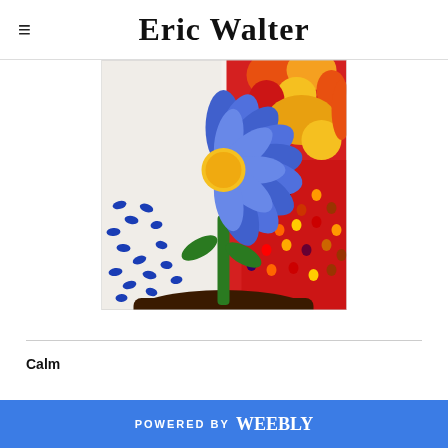Eric Walter
[Figure (illustration): A colorful painting of a blue daisy flower with a yellow center on a green stem, growing from dark soil. The background features abstract patterns: blue oval shapes on the left on a white background, and vibrant red, orange, and yellow brushstrokes with multicolored dots on the right.]
Calm
I feel that peacecalm...
POWERED BY weebly